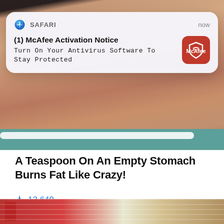[Figure (screenshot): iOS Safari browser notification popup showing McAfee Activation Notice: 'Turn On Your Antivirus Software To Stay Protected' with McAfee red icon]
[Figure (photo): Close-up photo of a person's midsection/stomach area showing excess fat, with teal/green waistband visible at bottom]
A Teaspoon On An Empty Stomach Burns Fat Like Crazy!
🔥 13,640
[Figure (photo): Partial bottom image showing what appears to be American flags and a person, likely a political figure]